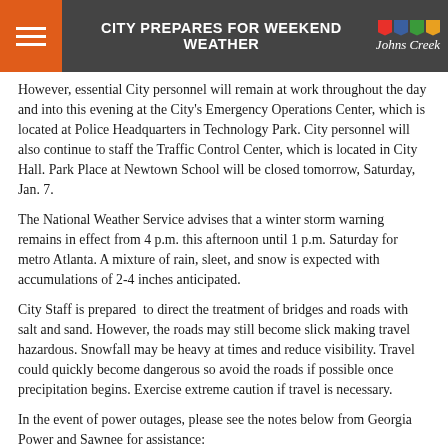CITY PREPARES FOR WEEKEND WEATHER — Johns Creek
However, essential City personnel will remain at work throughout the day and into this evening at the City's Emergency Operations Center, which is located at Police Headquarters in Technology Park. City personnel will also continue to staff the Traffic Control Center, which is located in City Hall. Park Place at Newtown School will be closed tomorrow, Saturday, Jan. 7.
The National Weather Service advises that a winter storm warning remains in effect from 4 p.m. this afternoon until 1 p.m. Saturday for metro Atlanta. A mixture of rain, sleet, and snow is expected with accumulations of 2-4 inches anticipated.
City Staff is prepared to direct the treatment of bridges and roads with salt and sand. However, the roads may still become slick making travel hazardous. Snowfall may be heavy at times and reduce visibility. Travel could quickly become dangerous so avoid the roads if possible once precipitation begins. Exercise extreme caution if travel is necessary.
In the event of power outages, please see the notes below from Georgia Power and Sawnee for assistance:
Georgia Power
The Georgia Power Company (GPC) is monitoring weather activity and positioned to respond to outages safely and aggressively. New outages can be reported at www.georgiapower.com/storm or by